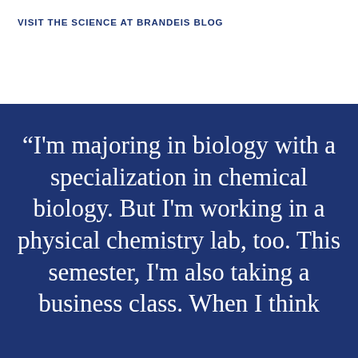VISIT THE SCIENCE AT BRANDEIS BLOG
“I'm majoring in biology with a specialization in chemical biology. But I'm working in a physical chemistry lab, too. This semester, I'm also taking a business class. When I think